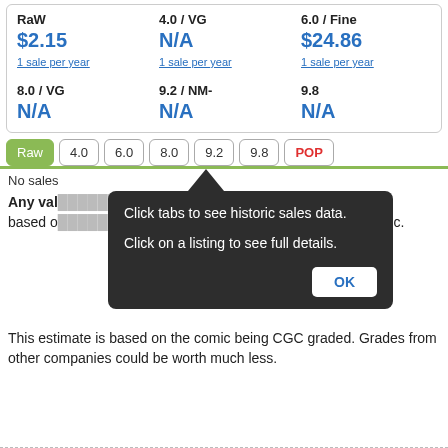| Raw | 4.0 / VG | 6.0 / Fine |
| --- | --- | --- |
| $2.15 | N/A | $24.86 |
| 1 sale per year | 1 sale per year | 1 sale per year |
| 8.0 / VG | 9.2 / NM- | 9.8 |
| N/A | N/A | N/A |
Raw
4.0
6.0
8.0
9.2
9.8
POP
No sales...
[Figure (screenshot): Tooltip popup with text: Click tabs to see historic sales data. Click on a listing to see full details. OK button.]
Any value shown for a grade is an estimate based on ... and the age of the comic.
This estimate is based on the comic being CGC graded. Grades from other companies could be worth much less.